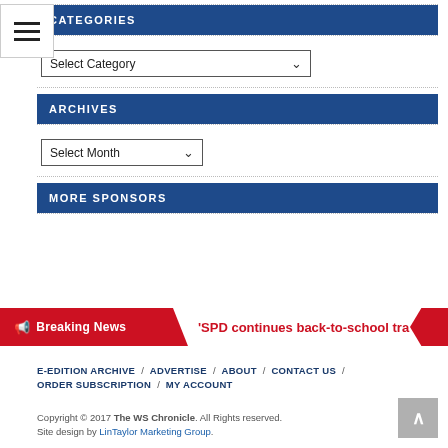CATEGORIES
Select Category
ARCHIVES
Select Month
MORE SPONSORS
Breaking News — SPD continues back-to-school tra
E-EDITION ARCHIVE / ADVERTISE / ABOUT / CONTACT US / ORDER SUBSCRIPTION / MY ACCOUNT
Copyright © 2017 The WS Chronicle. All Rights reserved. Site design by LinTaylor Marketing Group.